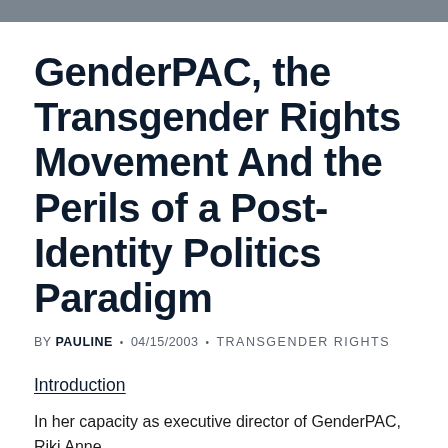GenderPAC, the Transgender Rights Movement And the Perils of a Post-Identity Politics Paradigm
BY PAULINE • 04/15/2003 • TRANSGENDER RIGHTS
Introduction
In her capacity as executive director of GenderPAC, Riki Anne